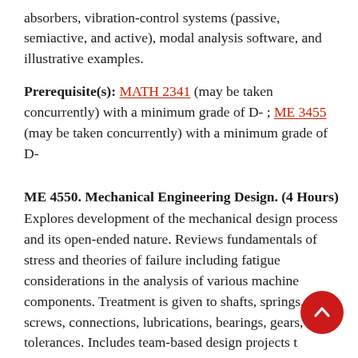absorbers, vibration-control systems (passive, semiactive, and active), modal analysis software, and illustrative examples.
Prerequisite(s): MATH 2341 (may be taken concurrently) with a minimum grade of D- ; ME 3455 (may be taken concurrently) with a minimum grade of D-
ME 4550. Mechanical Engineering Design. (4 Hours)
Explores development of the mechanical design process and its open-ended nature. Reviews fundamentals of stress and theories of failure including fatigue considerations in the analysis of various machine components. Treatment is given to shafts, springs, screws, connections, lubrications, bearings, gears, and tolerances. Includes team-based design projects that involve modeling and the design process.